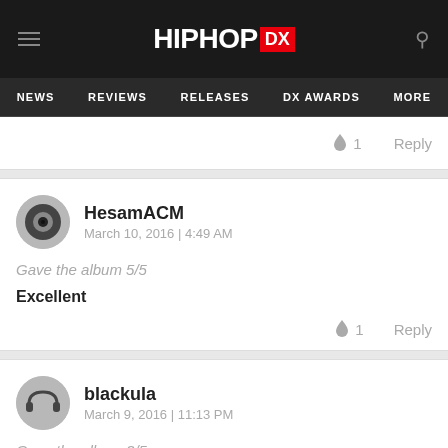HipHopDX — NEWS | REVIEWS | RELEASES | DX AWARDS | MORE
🔥 1   Reply
HesamACM
March 10, 2016 | 4:49 AM
Gave the album 5/5
Excellent
🔥 1   Reply
blackula
March 9, 2016 | 11:13 PM
Gave the album 3/5